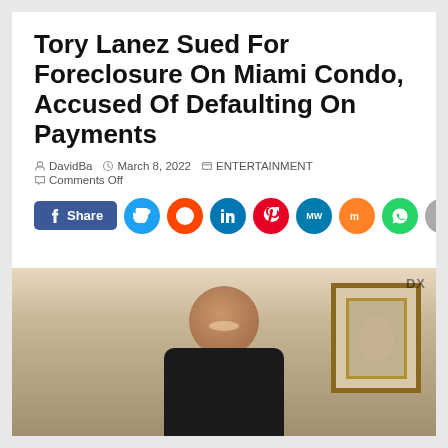Tory Lanez Sued For Foreclosure On Miami Condo, Accused Of Defaulting On Payments
DavidBa   March 8, 2022   ENTERTAINMENT
Comments Off
[Figure (infographic): Social media share buttons: Facebook Share button, Twitter, Reddit, LinkedIn, Pinterest, MeWe, Mix, WhatsApp, More]
[Figure (photo): Photo of Tory Lanez smiling, wearing a black outfit with gold chain, framed artwork visible in background, DX watermark in top right]